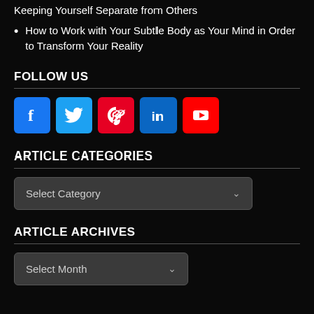Keeping Yourself Separate from Others
How to Work with Your Subtle Body as Your Mind in Order to Transform Your Reality
FOLLOW US
[Figure (infographic): Social media icons: Facebook (blue), Twitter (light blue), Pinterest (red), LinkedIn (blue), YouTube (red)]
ARTICLE CATEGORIES
Select Category
ARTICLE ARCHIVES
Select Month